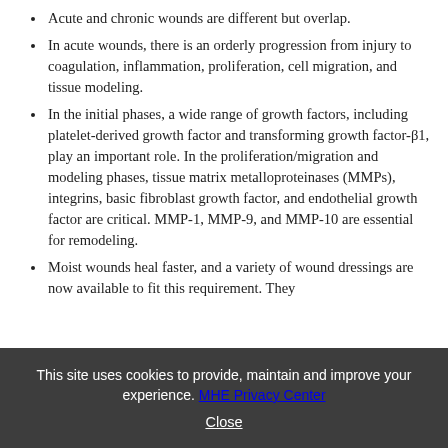Acute and chronic wounds are different but overlap.
In acute wounds, there is an orderly progression from injury to coagulation, inflammation, proliferation, cell migration, and tissue modeling.
In the initial phases, a wide range of growth factors, including platelet-derived growth factor and transforming growth factor-β1, play an important role. In the proliferation/migration and modeling phases, tissue matrix metalloproteinases (MMPs), integrins, basic fibroblast growth factor, and endothelial growth factor are critical. MMP-1, MMP-9, and MMP-10 are essential for remodeling.
Moist wounds heal faster, and a variety of wound dressings are now available to fit this requirement. They include...
This site uses cookies to provide, maintain and improve your experience. MHE Privacy Center Close